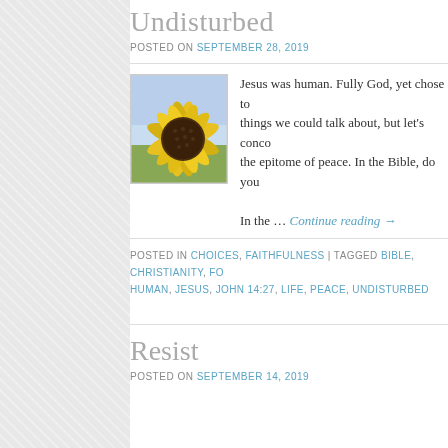Undisturbed
POSTED ON SEPTEMBER 28, 2019
[Figure (photo): A sunflower in bloom against a light blue sky background, close-up shot showing yellow petals and brown center.]
Jesus was human. Fully God, yet chose to… things we could talk about, but let's conco… the epitome of peace. In the Bible, do you… In the … Continue reading →
POSTED IN CHOICES, FAITHFULNESS | TAGGED BIBLE, CHRISTIANITY, FO… HUMAN, JESUS, JOHN 14:27, LIFE, PEACE, UNDISTURBED
Resist
POSTED ON SEPTEMBER 14, 2019